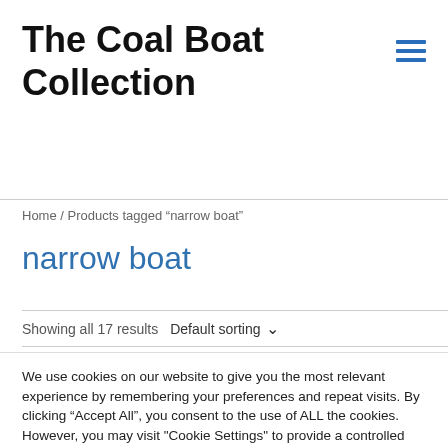The Coal Boat Collection
Home / Products tagged “narrow boat”
narrow boat
Showing all 17 results   Default sorting
We use cookies on our website to give you the most relevant experience by remembering your preferences and repeat visits. By clicking “Accept All”, you consent to the use of ALL the cookies. However, you may visit "Cookie Settings" to provide a controlled consent.
Cookie Settings   Accept All